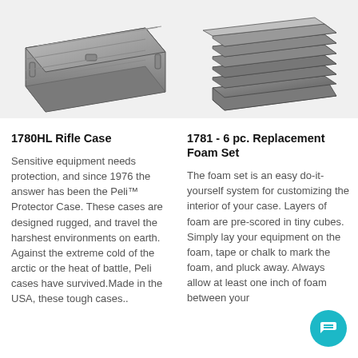[Figure (photo): Photo of a grey rugged Peli 1780HL rifle case, viewed from an angle, top left of page]
[Figure (photo): Photo of a set of grey foam layers for Peli 1781 replacement foam set, stacked, top right of page]
1780HL Rifle Case
Sensitive equipment needs protection, and since 1976 the answer has been the Peli™ Protector Case. These cases are designed rugged, and travel the harshest environments on earth. Against the extreme cold of the arctic or the heat of battle, Peli cases have survived.Made in the USA, these tough cases..
1781 - 6 pc. Replacement Foam Set
The foam set is an easy do-it-yourself system for customizing the interior of your case. Layers of foam are pre-scored in tiny cubes. Simply lay your equipment on the foam, tape or chalk to mark the foam, and pluck away. Always allow at least one inch of foam between your